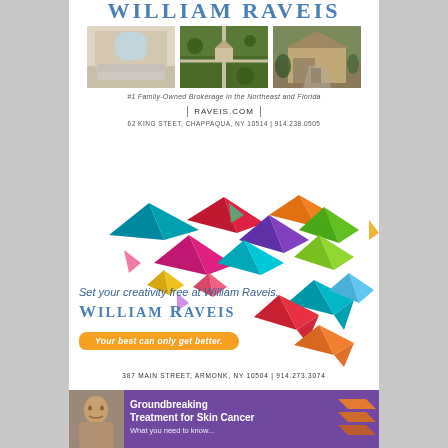WILLIAM RAVEIS
[Figure (photo): Three property photos: interior living room, aerial view of property with trees, and exterior house photo]
#1 Family-Owned Brokerage in the Northeast and Florida
RAVEIS.COM
62 KING STEET, CHAPPAQUA, NY 10514  |  914.238.0505
[Figure (illustration): Colorful origami paper cranes and butterflies floating on white background]
Set your creativity free at William Raveis.
WILLIAM RAVEIS
Your best can only get better.
387 MAIN STREET, ARMONK, NY 10504  |  914.273.3074
[Figure (photo): Advertisement with purple background featuring a man's portrait and text: Groundbreaking Treatment for Skin Cancer - What you need to know...]